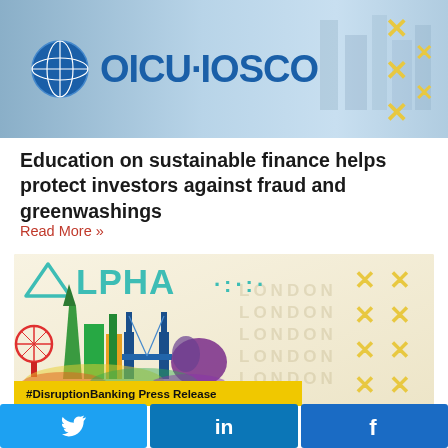[Figure (illustration): OICU-IOSCO logo banner with globe icon and blue text on a blue-grey cityscape background, with yellow X marks on the right]
Education on sustainable finance helps protect investors against fraud and greenwashings
Read More »
[Figure (illustration): Alpha company banner with teal ALPHA logo, colorful cityscape skyline illustration, LONDON watermark text, yellow X marks, and #DisruptionBanking Press Release yellow bar at bottom]
[Figure (illustration): Social share buttons bar: Twitter (bird icon), LinkedIn (in icon), Facebook (f icon)]